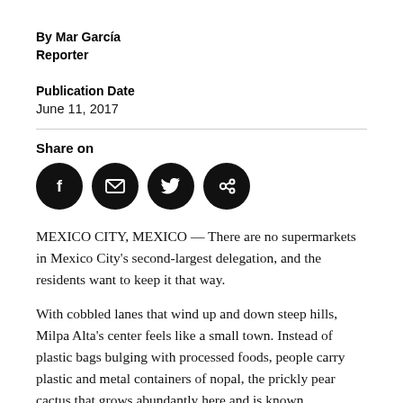By Mar García
Reporter
Publication Date
June 11, 2017
Share on
[Figure (infographic): Four black circular social share buttons: Facebook (f), Email (envelope), Twitter (bird), and a chain/link icon.]
MEXICO CITY, MEXICO — There are no supermarkets in Mexico City's second-largest delegation, and the residents want to keep it that way.
With cobbled lanes that wind up and down steep hills, Milpa Alta's center feels like a small town. Instead of plastic bags bulging with processed foods, people carry plastic and metal containers of nopal, the prickly pear cactus that grows abundantly here and is known